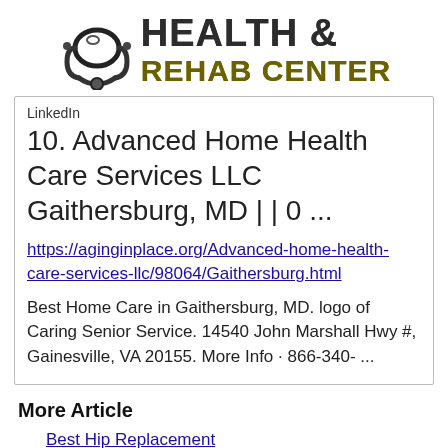[Figure (logo): Health & Rehab Center logo with stethoscope icon and bold text reading HEALTH & REHAB CENTER]
LinkedIn
10. Advanced Home Health Care Services LLC Gaithersburg, MD | | 0 ...
https://aginginplace.org/Advanced-home-health-care-services-llc/98064/Gaithersburg.html
Best Home Care in Gaithersburg, MD. logo of Caring Senior Service. 14540 John Marshall Hwy #, Gainesville, VA 20155. More Info · 866-340- ...
More Article
Best Hip Replacement